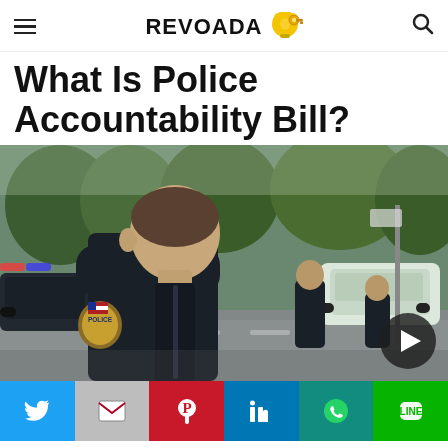REVOADA
What Is Police Accountability Bill?
[Figure (photo): A police officer in uniform seen from behind, with other officers and police vehicles visible in the background on a city street.]
Social share buttons: Twitter, Gmail, Pinterest, LinkedIn, WhatsApp, LINE